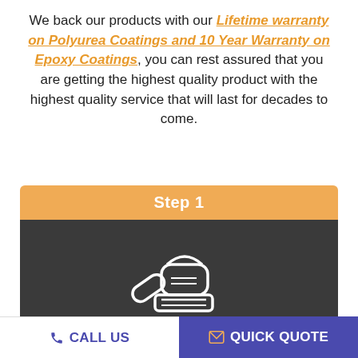We back our products with our Lifetime warranty on Polyurea Coatings and 10 Year Warranty on Epoxy Coatings, you can rest assured that you are getting the highest quality product with the highest quality service that will last for decades to come.
[Figure (infographic): Step 1 card with orange header labeled 'Step 1', dark background with white line-art icon of an orbital sander/grinder, and text 'Grind It' below the icon.]
CALL US | QUICK QUOTE